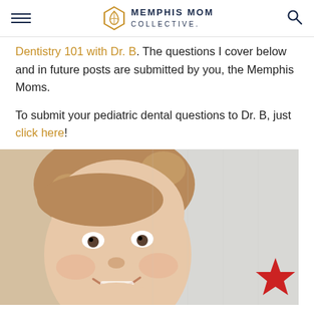Memphis Mom Collective
Dentistry 101 with Dr. B. The questions I cover below and in future posts are submitted by you, the Memphis Moms.
To submit your pediatric dental questions to Dr. B, just click here!
[Figure (photo): A smiling young toddler girl with light brown hair in a bun, looking upward, photographed in a dental or clinical setting. A red star shape is visible in the background on the right.]